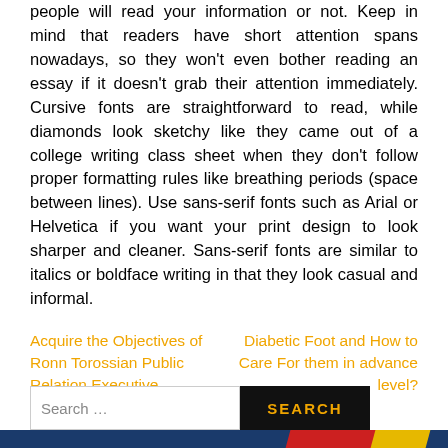people will read your information or not. Keep in mind that readers have short attention spans nowadays, so they won't even bother reading an essay if it doesn't grab their attention immediately. Cursive fonts are straightforward to read, while diamonds look sketchy like they came out of a college writing class sheet when they don't follow proper formatting rules like breathing periods (space between lines). Use sans-serif fonts such as Arial or Helvetica if you want your print design to look sharper and cleaner. Sans-serif fonts are similar to italics or boldface writing in that they look casual and informal.
Acquire the Objectives of Ronn Torossian Public Relation Executive
Diabetic Foot and How to Care For them in advance level?